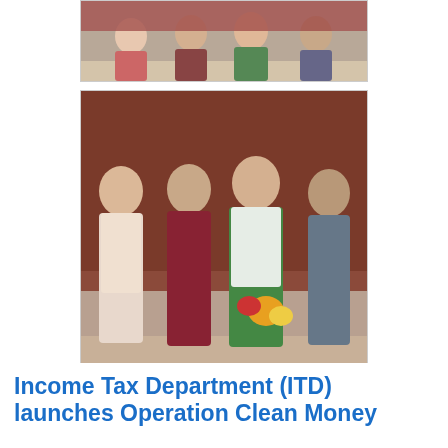[Figure (photo): Partial photo showing people seated at a table, cropped at top of page]
[Figure (photo): Group photo of four men standing together, one wearing a white shawl and holding flowers, against a red/brown background wall]
: AIPEU, Group-C, Bhubaneswar, Odisha at Tuesday, January 31, 2017    No comments:
Share
Income Tax Department (ITD) launches Operation Clean Money